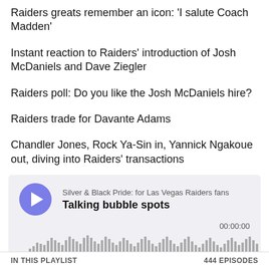Raiders greats remember an icon: ‘I salute Coach Madden’
Instant reaction to Raiders’ introduction of Josh McDaniels and Dave Ziegler
Raiders poll: Do you like the Josh McDaniels hire?
Raiders trade for Davante Adams
Chandler Jones, Rock Ya-Sin in, Yannick Ngakoue out, diving into Raiders’ transactions
[Figure (other): Podcast player widget for Silver & Black Pride: for Las Vegas Raiders fans, episode 'Talking bubble spots'. Shows a purple play button, audio waveform visualization, timer 00:00:00, and footer with SHARE, SUBSCRIBE, COOKIE POLICY, DESCRIPTION links and Megaphone logo.]
IN THIS PLAYLIST                                          444 EPISODES